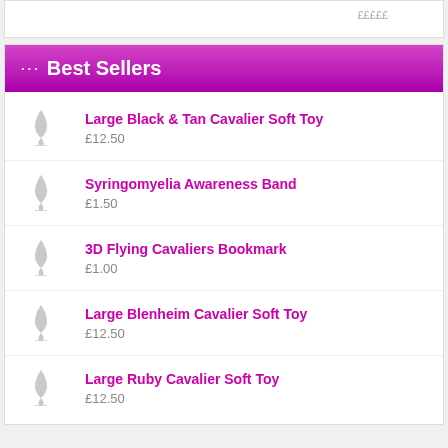Best Sellers
Large Black & Tan Cavalier Soft Toy £12.50
Syringomyelia Awareness Band £1.50
3D Flying Cavaliers Bookmark £1.00
Large Blenheim Cavalier Soft Toy £12.50
Large Ruby Cavalier Soft Toy £12.50